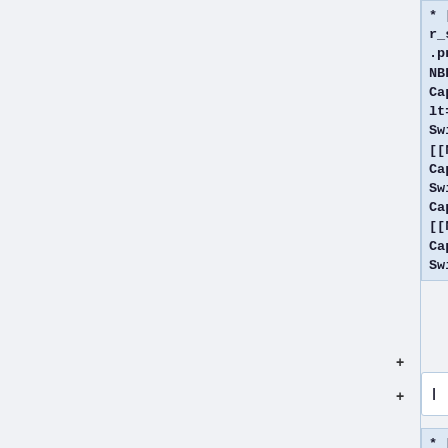* [[Image:Nbr_swim_cap.png|link=NBR Swim Cap|32px|alt=NBR Swim Cap|[[NBR Swim Cap|NBR Swim Cap]]]] [[NBR Swim Cap|NBR Swim Cap]]
|
* [[Bag (Nitrile-Butadiene Rubber